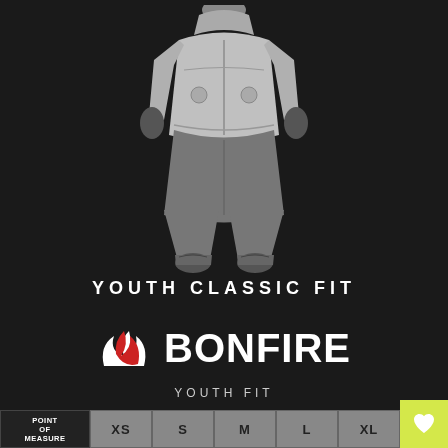[Figure (illustration): Illustration of a youth wearing a snowboard jacket and pants with gloves, shown from the chest down, in gray tones on dark background]
YOUTH CLASSIC FIT
[Figure (logo): Bonfire logo with red and white flame icon and BONFIRE text in white bold letters]
YOUTH FIT
| POINT OF MEASURE | XS | S | M | L | XL |
| --- | --- | --- | --- | --- | --- |